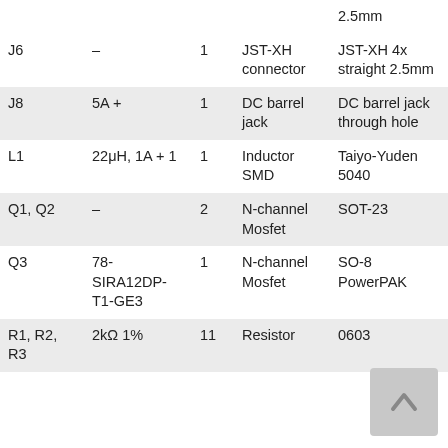| Reference | Value | Qty | Footprint | Description |
| --- | --- | --- | --- | --- |
|  |  |  |  | 2.5mm |
| J6 | – | 1 | JST-XH connector | JST-XH 4x straight 2.5mm |
| J8 | 5A + | 1 | DC barrel jack | DC barrel jack through hole |
| L1 | 22μH, 1A + 1 | 1 | Inductor SMD | Taiyo-Yuden 5040 |
| Q1, Q2 | – | 2 | N-channel Mosfet | SOT-23 |
| Q3 | 78-SIRA12DP-T1-GE3 | 1 | N-channel Mosfet | SO-8 PowerPAK |
| R1, R2, R3 | 2kΩ 1% | 11 | Resistor | 0603 |